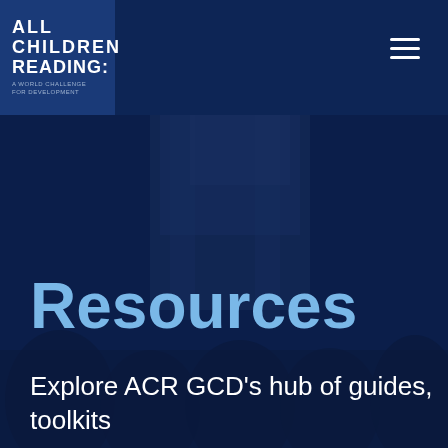[Figure (photo): Dark navy blue overlay on a blurred classroom/presentation scene with people in foreground and background, serving as hero image background]
ALL CHILDREN READING: A WORLD CHALLENGE FOR DEVELOPMENT
Resources
Explore ACR GCD's hub of guides, toolkits